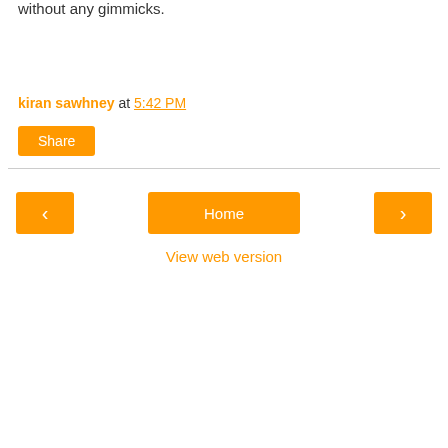without any gimmicks.
kiran sawhney at 5:42 PM
Share
‹
Home
›
View web version